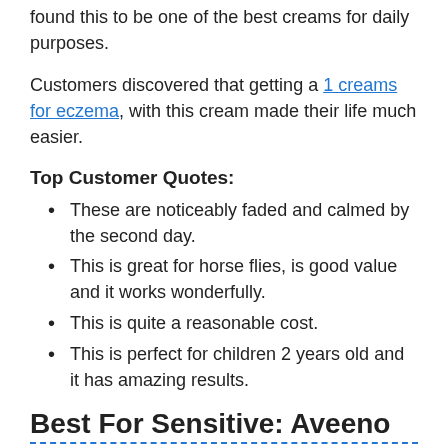found this to be one of the best creams for daily purposes.
Customers discovered that getting a 1 creams for eczema, with this cream made their life much easier.
Top Customer Quotes:
These are noticeably faded and calmed by the second day.
This is great for horse flies, is good value and it works wonderfully.
This is quite a reasonable cost.
This is perfect for children 2 years old and it has amazing results.
Best For Sensitive: Aveeno